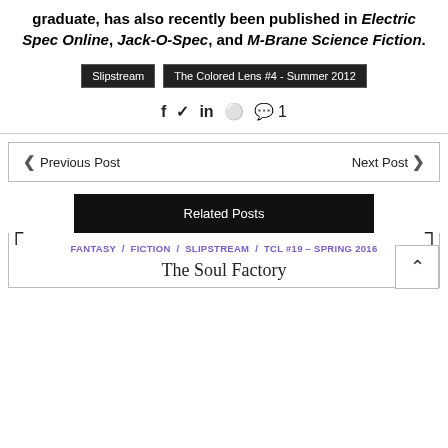graduate, has also recently been published in Electric Spec Online, Jack-O-Spec, and M-Brane Science Fiction.
Slipstream
The Colored Lens #4 - Summer 2012
Social share icons: f, twitter, in, pinterest, comment 1
Previous Post   Next Post
Related Posts
FANTASY / FICTION / SLIPSTREAM / TCL #19 – SPRING 2016
The Soul Factory